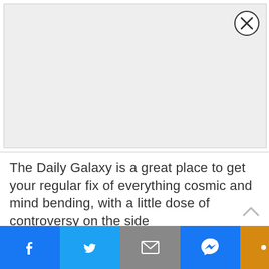[Figure (other): Gray advertisement placeholder box with a close (X) button in the top-right corner]
The Daily Galaxy is a great place to get your regular fix of everything cosmic and mind bending, with a little dose of controversy on the side
[Figure (other): Social share and navigation footer bar with Facebook, Twitter, Email, Messenger, More buttons and a NEXT ARTICLE link]